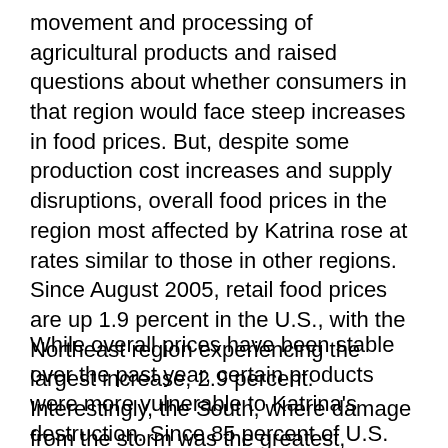movement and processing of agricultural products and raised questions about whether consumers in that region would face steep increases in food prices. But, despite some production cost increases and supply disruptions, overall food prices in the region most affected by Katrina rose at rates similar to those in other regions. Since August 2005, retail food prices are up 1.9 percent in the U.S., with the Northeast region experiencing the largest increase, 2.9 percent. Interestingly, the South, where damage from the storm was the greatest, experienced a 1.8-percent increase in food prices, only slightly higher than the 1.4-and 1.7-percent price increases in the West and Midwest, respectively.
While overall prices have been stable over the past year, certain products were more vulnerable to Katrina's destruction. Since 85 percent of U.S. sugarcane production, 17 percent of broiler production, and 14